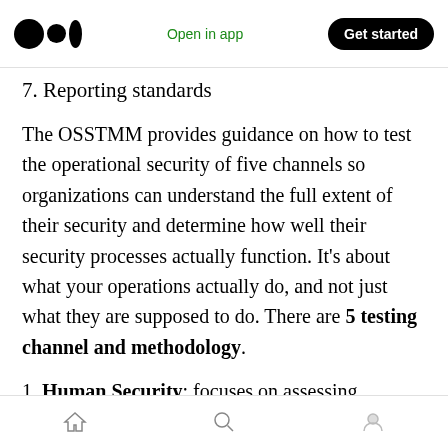Open in app | Get started
7. Reporting standards
The OSSTMM provides guidance on how to test the operational security of five channels so organizations can understand the full extent of their security and determine how well their security processes actually function. It’s about what your operations actually do, and not just what they are supposed to do. There are 5 testing channel and methodology.
1. Human Security: focuses on assessing
Home | Search | Profile